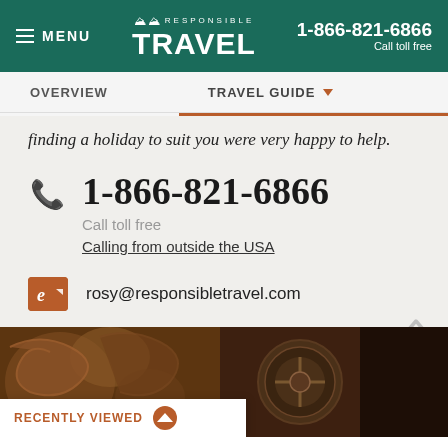MENU | RESPONSIBLE TRAVEL | 1-866-821-6866 Call toll free
OVERVIEW   TRAVEL GUIDE
finding a holiday to suit you were very happy to help.
1-866-821-6866
Call toll free
Calling from outside the USA
rosy@responsibletravel.com
[Figure (photo): Decorative carved stone or mosaic detail, brown and gold tones]
RECENTLY VIEWED